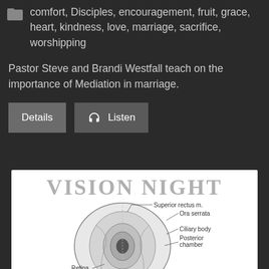comfort, Disciples, encouragement, fruit, grace, heart, kindness, love, marriage, sacrifice, worshipping
Pastor Steve and Brandi Westfall teach on the importance of Mediation in marriage.
Details | Listen
[Figure (illustration): Vision Night banner with anatomical eye diagram showing labels: Superior rectus m., Ora serrata, Ciliary body, Posterior chamber, Retina]